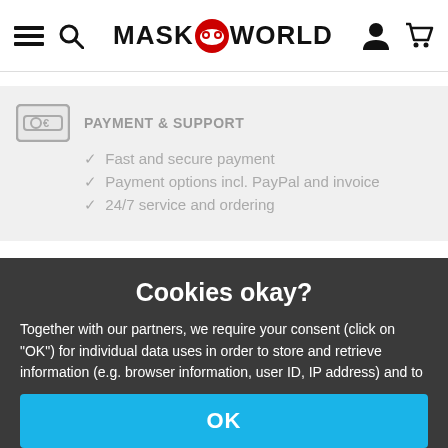MASKWORLD
PAYMENT & SUPPORT
✓ Fast and secure payment
✓ Payment options incl. PayPal and invoice
✓ 24/7 service and ordering
Cookies okay?
Together with our partners, we require your consent (click on "OK") for individual data uses in order to store and retrieve information (e.g. browser information, user ID, IP address) and to process it or have it processed. The data usage is for personalised functionalities, content and ads